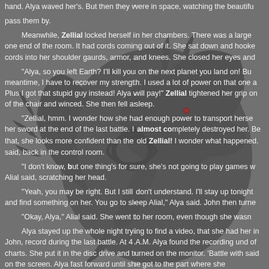hand. Alya waved her's. But then they were in space, watching the beautiful pass them by.
Meanwhile, Zellial locked herself in her chambers. There was a large one end of the room. It had cords coming out of it. She sat down and hooked cords into her shoulder gaurds, armor, and knees. She closed her eyes and
"Alya, so you left Earth? I'll kill you on the next planet you land on! Bu meantime, I have to recover my strength. I used a lot of power on that one a Plus I got that stupid guy instead! Alya will pay!" Zellial tightened her grip on of the chair and winced. She then fell asleep.
"Zellial, hmm. I wonder how she had enough power to transport herse her sword at the end of the last battle. I almost completely destroyed her. Be that, she looks more confident than the old Zellial! I wonder what happened. said, back in the control room.
"I don't know, but one thing's for sure, she's not going to play games w Alial said, scratching her head.
"Yeah, you may be right. But I still don't understand. I'll stay up tonight and find something on her. You go to sleep Alial," Alya said. John then turne
"Okay, Alya," Alial said. She went to her room, even though she wasn
Alya stayed up the whole night trying to find a video, that she had her in John, record during the last battle. At 4 A.M. Alya found the recording und of charts. She put it in the disc drive and turned on the monitor. 'Battle with said on the screen. Alya fast forward until she got to the part where she